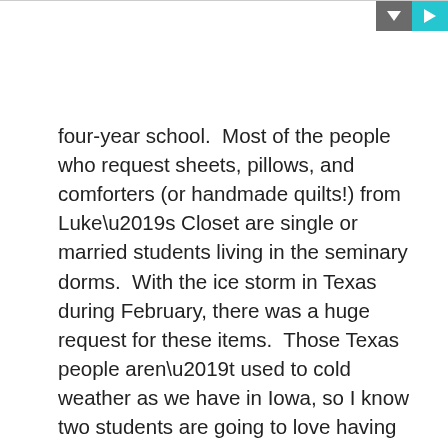[Figure (other): Toolbar with two buttons: a dark gray down-arrow button and a teal play button in the top-right corner]
four-year school.  Most of the people who request sheets, pillows, and comforters (or handmade quilts!) from Luke’s Closet are single or married students living in the seminary dorms.  With the ice storm in Texas during February, there was a huge request for these items.  Those Texas people aren’t used to cold weather as we have in Iowa, so I know two students are going to love having these beautiful quilts to keep them warm.  Thank you, Joann, Blog Reader, and Cheryl for working on these quilts.